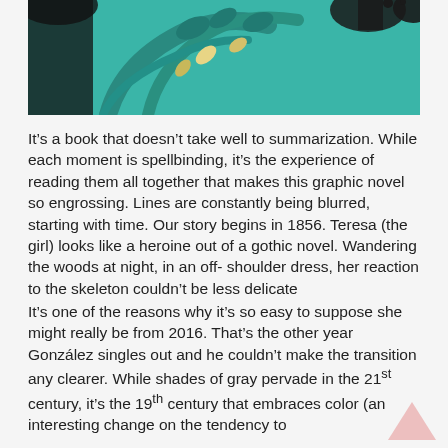[Figure (illustration): Top portion of a comic/graphic novel illustration showing a teal/green background with stylized tree branches and leaves, and partially visible figures including what appears to be a character in the scene.]
It’s a book that doesn’t take well to summarization. While each moment is spellbinding, it’s the experience of reading them all together that makes this graphic novel so engrossing. Lines are constantly being blurred, starting with time. Our story begins in 1856. Teresa (the girl) looks like a heroine out of a gothic novel. Wandering the woods at night, in an off-shoulder dress, her reaction to the skeleton couldn’t be less delicate
It’s one of the reasons why it’s so easy to suppose she might really be from 2016. That’s the other year González singles out and he couldn’t make the transition any clearer. While shades of gray pervade in the 21st century, it’s the 19th century that embraces color (an interesting change on the tendency to